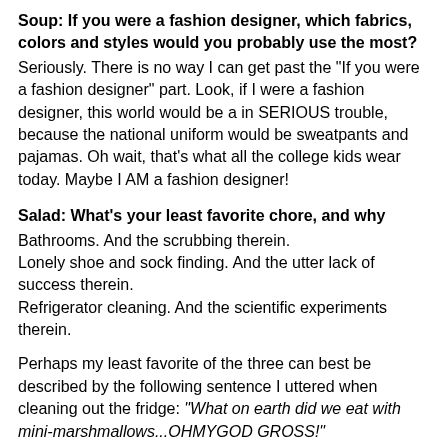Soup: If you were a fashion designer, which fabrics, colors and styles would you probably use the most?
Seriously. There is no way I can get past the "If you were a fashion designer" part. Look, if I were a fashion designer, this world would be a in SERIOUS trouble, because the national uniform would be sweatpants and pajamas. Oh wait, that's what all the college kids wear today. Maybe I AM a fashion designer!
Salad: What's your least favorite chore, and why
Bathrooms. And the scrubbing therein.
Lonely shoe and sock finding. And the utter lack of success therein.
Refrigerator cleaning. And the scientific experiments therein.
Perhaps my least favorite of the three can best be described by the following sentence I uttered when cleaning out the fridge: "What on earth did we eat with mini-marshmallows...OHMYGOD GROSS!"
Main Course: What is something that really frightens